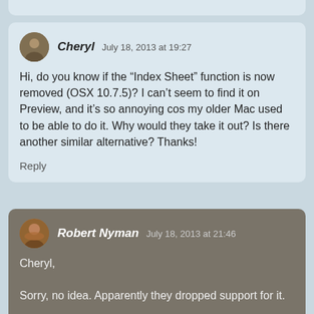Cheryl  July 18, 2013 at 19:27
Hi, do you know if the “Index Sheet” function is now removed (OSX 10.7.5)? I can’t seem to find it on Preview, and it’s so annoying cos my older Mac used to be able to do it. Why would they take it out? Is there another similar alternative? Thanks!
Reply
Robert Nyman  July 18, 2013 at 21:46
Cheryl,
Sorry, no idea. Apparently they dropped support for it.
Reply